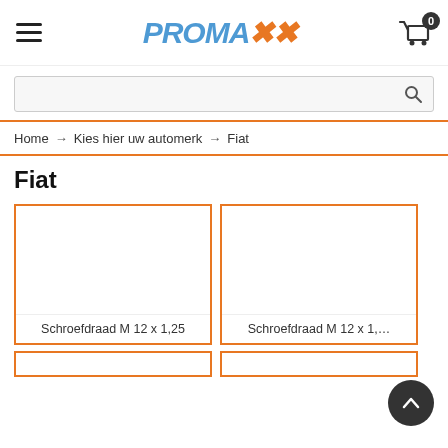PROMAXX — navigation header with hamburger menu, logo, and cart icon (0 items)
Search bar
Home → Kies hier uw automerk → Fiat
Fiat
Schroefdraad M 12 x 1,25
Schroefdraad M 12 x 1,…